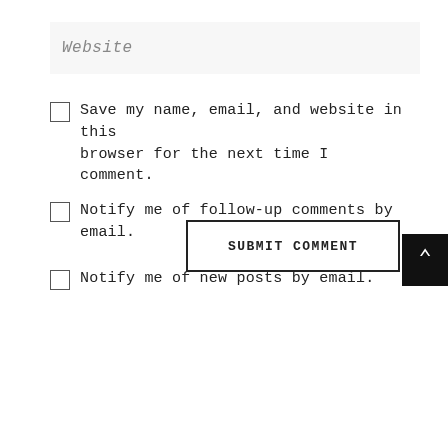Website
Save my name, email, and website in this browser for the next time I comment.
Notify me of follow-up comments by email.
Notify me of new posts by email.
SUBMIT COMMENT